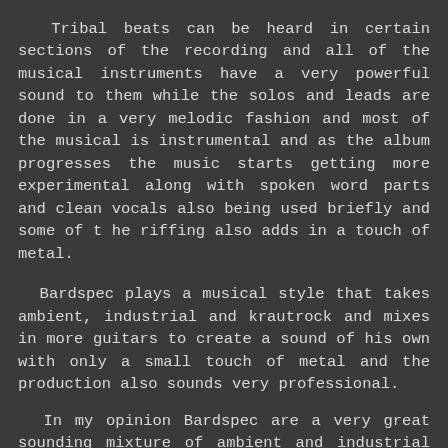Tribal beats can be heard in certain sections of the recording and all of the musical instruments have a very powerful sound to them while the solos and leads are done in a very melodic fashion and most of the musical is instrumental and as the album progresses the music starts getting more experimental along with spoken word parts and clean vocals also being used briefly and some of t he riffing also adds in a touch of metal.
Bardspec plays a musical style that takes ambient, industrial and krautrock and mixes in more guitars to create a sound of his own with only a small touch of metal and the production also sounds very professional.
In my opinion Bardspec are a very great sounding mixture of ambient and industrial and if you are a fan of those musical genres, you should check out this solo project. RECOMMENDED TRACKS INCLUDE "Bone" and "Salt'. 8 out of 10.